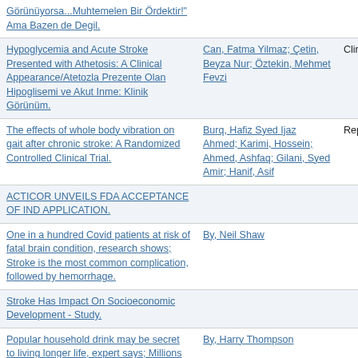| Title | Authors | Type |
| --- | --- | --- |
| Görünüyorsa...Muhtemelen Bir Ördektir!" Ama Bazen de Degil. |  |  |
| Hypoglycemia and Acute Stroke Presented with Athetosis: A Clinical Appearance/Atetozla Prezente Olan Hipoglisemi ve Akut Inme: Klinik Görünüm. | Can, Fatma Yilmaz; Çetin, Beyza Nur; Öztekin, Mehmet Fevzi | Clinical |
| The effects of whole body vibration on gait after chronic stroke: A Randomized Controlled Clinical Trial. | Burq, Hafiz Syed Ijaz Ahmed; Karimi, Hossein; Ahmed, Ashfaq; Gilani, Syed Amir; Hanif, Asif | Report |
| ACTICOR UNVEILS FDA ACCEPTANCE OF IND APPLICATION. |  |  |
| One in a hundred Covid patients at risk of fatal brain condition, research shows; Stroke is the most common complication, followed by hemorrhage. | By, Neil Shaw |  |
| Stroke Has Impact On Socioeconomic Development - Study. |  |  |
| Popular household drink may be secret to living longer life, expert says; Millions would live forever if they could, but what if you could at | By, Harry Thompson |  |